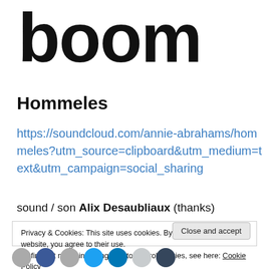boom
Hommeles
https://soundcloud.com/annie-abrahams/hommeles?utm_source=clipboard&utm_medium=text&utm_campaign=social_sharing
sound / son Alix Desaubliaux (thanks)
Privacy & Cookies: This site uses cookies. By continuing to use this website, you agree to their use.
To find out more, including how to control cookies, see here: Cookie Policy
Close and accept